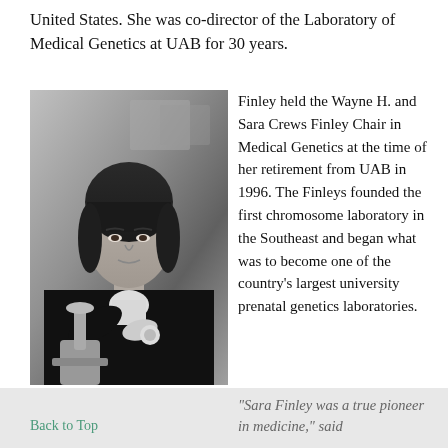United States. She was co-director of the Laboratory of Medical Genetics at UAB for 30 years.
[Figure (photo): Black and white photograph of a woman in a dark blazer holding or gesturing toward a microscope, with artwork visible in the background.]
Finley held the Wayne H. and Sara Crews Finley Chair in Medical Genetics at the time of her retirement from UAB in 1996. The Finleys founded the first chromosome laboratory in the Southeast and began what was to become one of the country’s largest university prenatal genetics laboratories.
“Sara Finley was a true pioneer in medicine,” said
Back to Top